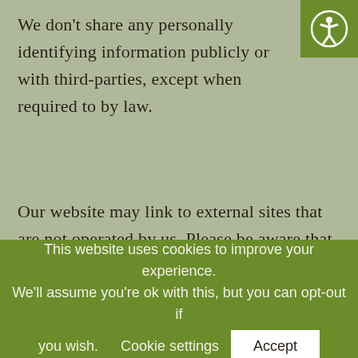We don't share any personally identifying information publicly or with third-parties, except when required to by law.
Our website may link to external sites that are not operated by us. Please be aware that we have no control over the content and practices of these sites, and cannot accept responsibility or liability for their respective privacy policies. You are free to refuse our request for your personal information, with the
This website uses cookies to improve your experience. We'll assume you're ok with this, but you can opt-out if you wish.   Cookie settings   Accept